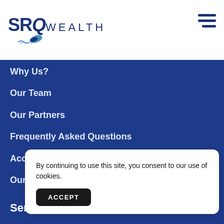SRQ WEALTH
Why Us?
Our Team
Our Partners
Frequently Asked Questions
Accolades
Our Concierge Approach
Services
Fi...
In...
By continuing to use this site, you consent to our use of cookies.
ACCEPT